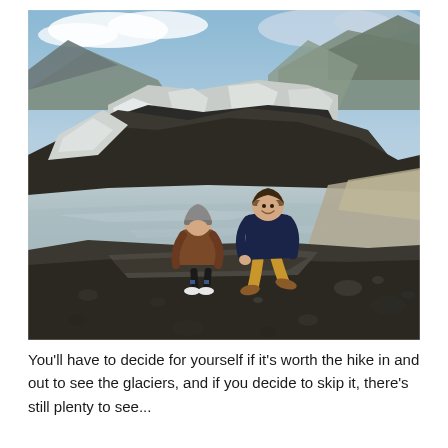[Figure (photo): Two people (an adult crouching in a navy blue sweater and mustard yellow pants, and a child in a brown jacket and grey beanie bending over) standing on a dark rocky/gravelly shoreline in front of a large glacial lake. Behind them is a massive glacier with dark volcanic rock and ice. Mountains and overcast blue sky are visible in the background. The landscape appears to be in Iceland.]
You'll have to decide for yourself if it's worth the hike in and out to see the glaciers, and if you decide to skip it, there's still plenty to see...